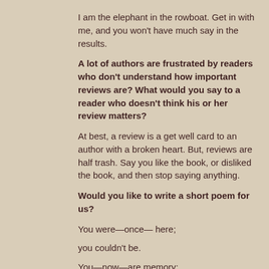I am the elephant in the rowboat. Get in with me, and you won't have much say in the results.
A lot of authors are frustrated by readers who don't understand how important reviews are? What would you say to a reader who doesn't think his or her review matters?
At best, a review is a get well card to an author with a broken heart. But, reviews are half trash. Say you like the book, or disliked the book, and then stop saying anything.
Would you like to write a short poem for us?
You were—once— here;
you couldn't be.
You—now—are memory;